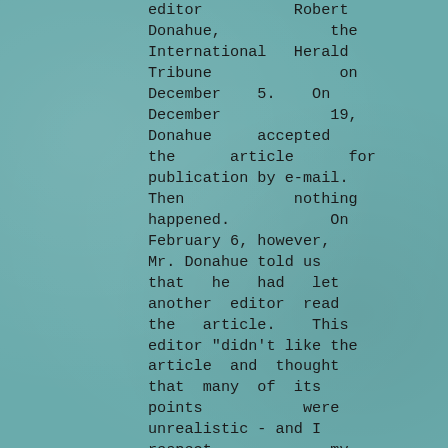editor Robert Donahue, the International Herald Tribune on December 5. On December 19, Donahue accepted the article for publication by e-mail. Then nothing happened. On February 6, however, Mr. Donahue told us that he had let another editor read the article. This editor "didn't like the article and thought that many of its points were unrealistic - and I respect my colleague," he said over the phone. So the International Herald Tribune